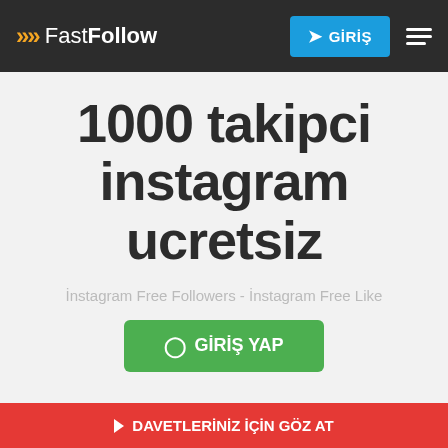FastFollow — GİRİŞ
1000 takipci instagram ucretsiz
İnstagram Free Followers - İnstagram Free Like
⊙ GİRİŞ YAP
↓ DAVETLERİNİZ İÇİN GÖZ AT